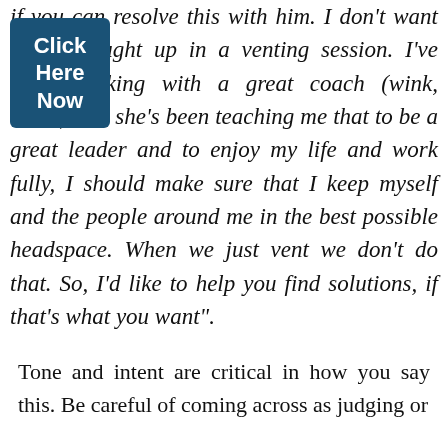if you can resolve this with him. I don't want to get caught up in a venting session. I've been working with a great coach (wink, wink!) and she's been teaching me that to be a great leader and to enjoy my life and work fully, I should make sure that I keep myself and the people around me in the best possible headspace. When we just vent we don't do that. So, I'd like to help you find solutions, if that's what you want".
Tone and intent are critical in how you say this. Be careful of coming across as judging or